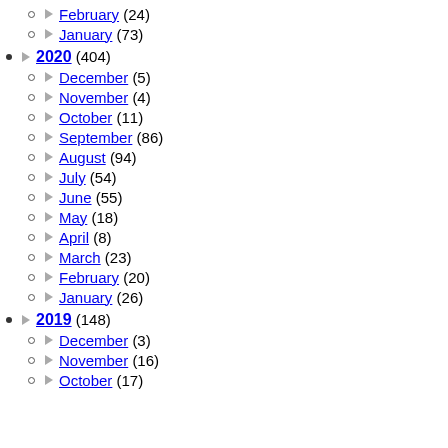► February (24)
► January (73)
► 2020 (404)
► December (5)
► November (4)
► October (11)
► September (86)
► August (94)
► July (54)
► June (55)
► May (18)
► April (8)
► March (23)
► February (20)
► January (26)
► 2019 (148)
► December (3)
► November (16)
► October (17)